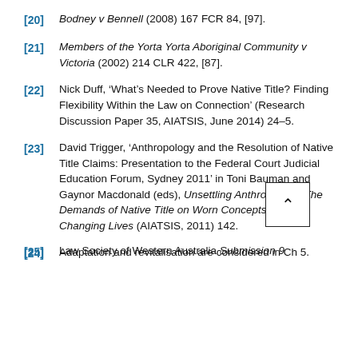[20] Bodney v Bennell (2008) 167 FCR 84, [97].
[21] Members of the Yorta Yorta Aboriginal Community v Victoria (2002) 214 CLR 422, [87].
[22] Nick Duff, ‘What’s Needed to Prove Native Title? Finding Flexibility Within the Law on Connection’ (Research Discussion Paper 35, AIATSIS, June 2014) 24–5.
[23] David Trigger, ‘Anthropology and the Resolution of Native Title Claims: Presentation to the Federal Court Judicial Education Forum, Sydney 2011’ in Toni Bauman and Gaynor Macdonald (eds), Unsettling Anthropology: The Demands of Native Title on Worn Concepts and Changing Lives (AIATSIS, 2011) 142.
[24] Adaptation and revitalisation are considered in Ch 5.
[25] Law Society of Western Australia Submission 9